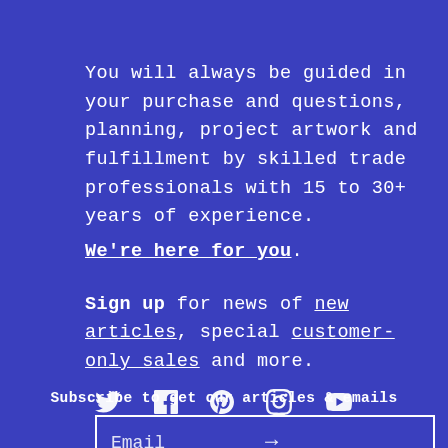You will always be guided in your purchase and questions, planning, project artwork and fulfillment by skilled trade professionals with 15 to 30+ years of experience. We're here for you.
Sign up for news of new articles, special customer-only sales and more.
Subscribe to get our articles & emails
Email
[Figure (infographic): Social media icons row: Twitter, Facebook, Pinterest, Instagram, YouTube]